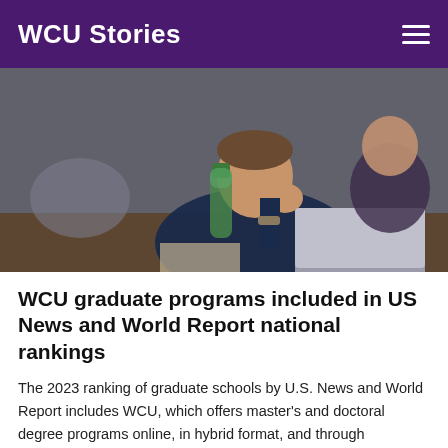WCU Stories
[Figure (photo): Photo of a man in a navy polo shirt sitting at a desk working on a laptop with a water bottle nearby, in a classroom setting.]
WCU graduate programs included in US News and World Report national rankings
The 2023 ranking of graduate schools by U.S. News and World Report includes WCU, which offers master’s and doctoral degree programs online, in hybrid format, and through traditional classroom instruction at its Cullowhee campus and the Biltmore Park instructional site in Asheville.
›